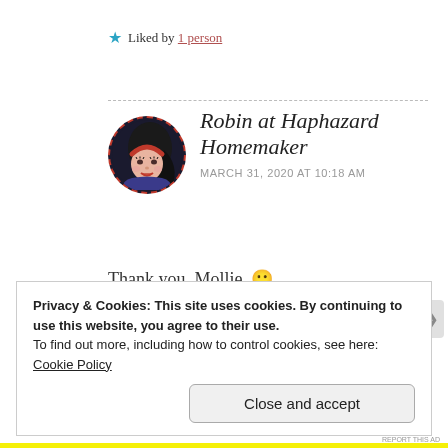★ Liked by 1 person
[Figure (illustration): Avatar of Robin at Haphazard Homemaker - cartoon woman with black hair and red headband, circular dashed red border]
Robin at Haphazard Homemaker
MARCH 31, 2020 AT 10:18 AM
Thank you, Mollie. 🙂
★ Liked by 1 person
Privacy & Cookies: This site uses cookies. By continuing to use this website, you agree to their use.
To find out more, including how to control cookies, see here:
Cookie Policy
Close and accept